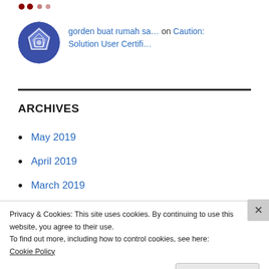[Figure (logo): Decorative dot cluster with red dots at top left]
gorden buat rumah sa... on Caution: Solution User Certifi...
ARCHIVES
May 2019
April 2019
March 2019
Privacy & Cookies: This site uses cookies. By continuing to use this website, you agree to their use.
To find out more, including how to control cookies, see here:
Cookie Policy
Close and accept